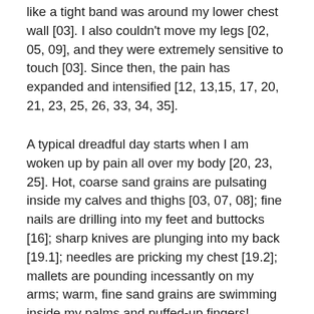like a tight band was around my lower chest wall [03]. I also couldn't move my legs [02, 05, 09], and they were extremely sensitive to touch [03]. Since then, the pain has expanded and intensified [12, 13,15, 17, 20, 21, 23, 25, 26, 33, 34, 35].
A typical dreadful day starts when I am woken up by pain all over my body [20, 23, 25]. Hot, coarse sand grains are pulsating inside my calves and thighs [03, 07, 08]; fine nails are drilling into my feet and buttocks [16]; sharp knives are plunging into my back [19.1]; needles are pricking my chest [19.2]; mallets are pounding incessantly on my arms; warm, fine sand grains are swimming inside my palms and puffed-up fingers!
It was another night with bad sleeping posture. My back must have glided off the three standing pillows propping